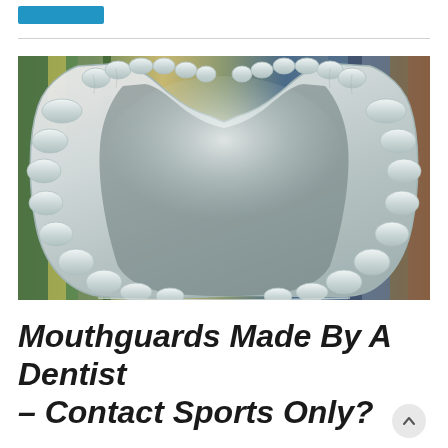[Figure (photo): A clear/transparent dental mouthguard (teeth guard) viewed from below, showing the U-shaped form with molded impressions of individual teeth, photographed against a blurred background of bookshelves.]
Mouthguards Made By A Dentist – Contact Sports Only?